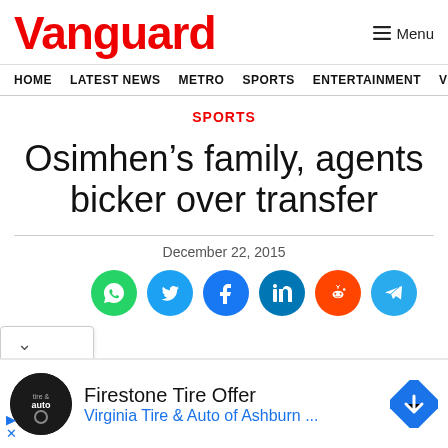Vanguard  ≡ Menu
HOME  LATEST NEWS  METRO  SPORTS  ENTERTAINMENT  VIDEOS
SPORTS
Osimhen’s family, agents bicker over transfer
December 22, 2015
[Figure (infographic): Social share buttons: WhatsApp (green), Twitter (blue), Facebook (dark blue), LinkedIn (blue), Reddit (orange), Telegram (light blue)]
[Figure (infographic): Advertisement: Firestone Tire Offer - Virginia Tire & Auto of Ashburn ... with logo and directional arrow icon]